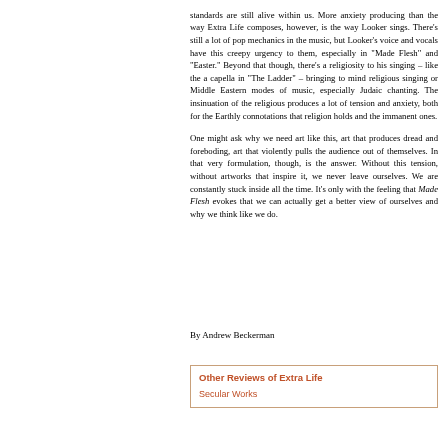standards are still alive within us. More anxiety producing than the way Extra Life composes, however, is the way Looker sings. There's still a lot of pop mechanics in the music, but Looker's voice and vocals have this creepy urgency to them, especially in “Made Flesh” and “Easter.” Beyond that though, there’s a religiosity to his singing – like the a capella in “The Ladder” – bringing to mind religious singing or Middle Eastern modes of music, especially Judaic chanting. The insinuation of the religious produces a lot of tension and anxiety, both for the Earthly connotations that religion holds and the immanent ones.
One might ask why we need art like this, art that produces dread and foreboding, art that violently pulls the audience out of themselves. In that very formulation, though, is the answer. Without this tension, without artworks that inspire it, we never leave ourselves. We are constantly stuck inside all the time. It’s only with the feeling that Made Flesh evokes that we can actually get a better view of ourselves and why we think like we do.
By Andrew Beckerman
Other Reviews of Extra Life
Secular Works